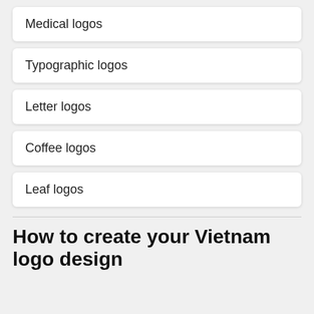Medical logos
Typographic logos
Letter logos
Coffee logos
Leaf logos
How to create your Vietnam logo design